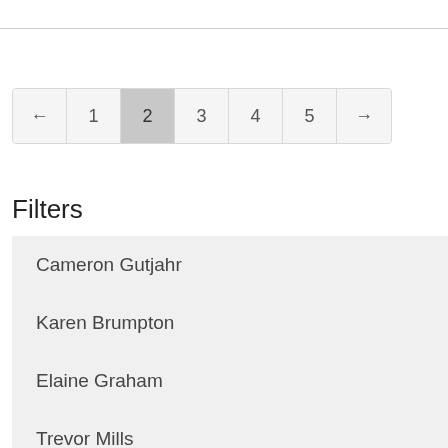[Figure (other): Pagination control with buttons: ← 1 2 3 4 5 →, with page 2 highlighted/active]
Filters
Cameron Gutjahr
Karen Brumpton
Elaine Graham
Trevor Mills
Canon Donald Lawton